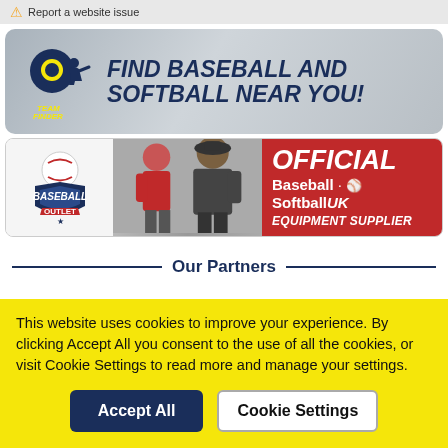⚠ Report a website issue
[Figure (illustration): Team Finder banner with location pin logo and baseball player silhouette, text: FIND BASEBALL AND SOFTBALL NEAR YOU!]
[Figure (illustration): Baseball Outlet banner showing two players, with red panel: OFFICIAL Baseball Softball UK EQUIPMENT SUPPLIER]
Our Partners
This website uses cookies to improve your experience. By clicking Accept All you consent to the use of all the cookies, or visit Cookie Settings to read more and manage your settings.
Accept All   Cookie Settings